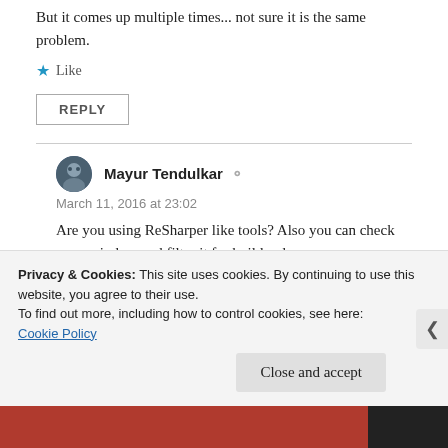But it comes up multiple times... not sure it is the same problem.
★ Like
REPLY
Mayur Tendulkar
March 11, 2016 at 23:02
Are you using ReSharper like tools? Also you can check error window and filter it for build only.
Privacy & Cookies: This site uses cookies. By continuing to use this website, you agree to their use.
To find out more, including how to control cookies, see here:
Cookie Policy
Close and accept